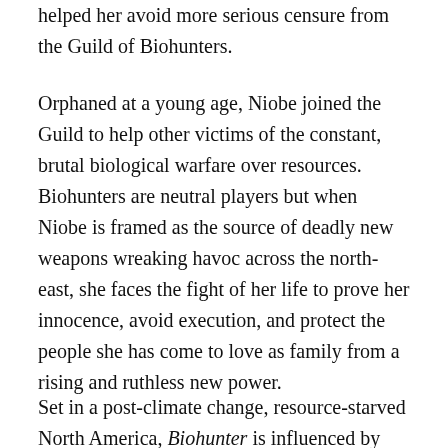helped her avoid more serious censure from the Guild of Biohunters.
Orphaned at a young age, Niobe joined the Guild to help other victims of the constant, brutal biological warfare over resources. Biohunters are neutral players but when Niobe is framed as the source of deadly new weapons wreaking havoc across the north-east, she faces the fight of her life to prove her innocence, avoid execution, and protect the people she has come to love as family from a rising and ruthless new power.
Set in a post-climate change, resource-starved North America, Biohunter is influenced by num...